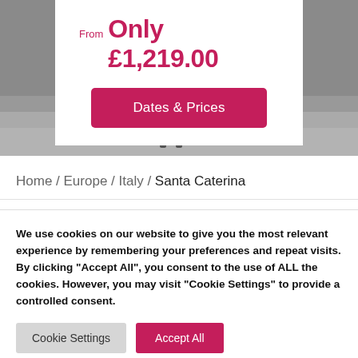[Figure (photo): Background ski slope photo with grayscale tones, people skiing visible at bottom]
From Only £1,219.00
Dates & Prices
Home / Europe / Italy / Santa Caterina
We use cookies on our website to give you the most relevant experience by remembering your preferences and repeat visits. By clicking "Accept All", you consent to the use of ALL the cookies. However, you may visit "Cookie Settings" to provide a controlled consent.
Cookie Settings
Accept All